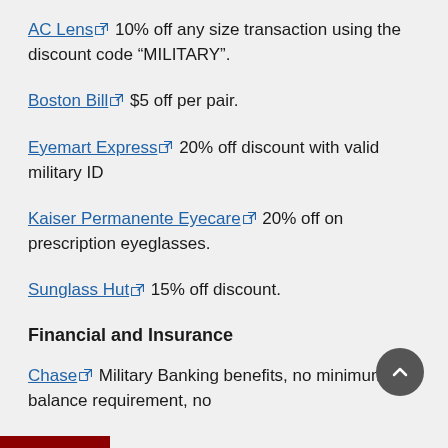AC Lens 10% off any size transaction using the discount code “MILITARY”.
Boston Bill $5 off per pair.
Eyemart Express 20% off discount with valid military ID
Kaiser Permanente Eyecare 20% off on prescription eyeglasses.
Sunglass Hut 15% off discount.
Financial and Insurance
Chase Military Banking benefits, no minimum balance requirement, no